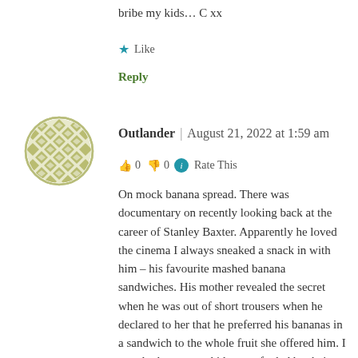bribe my kids… C xx
★ Like
Reply
[Figure (illustration): Circular avatar with olive/green geometric diamond pattern on white background]
Outlander | August 21, 2022 at 1:59 am
👍 0 👎 0 ℹ Rate This
On mock banana spread. There was documentary on recently looking back at the career of Stanley Baxter. Apparently he loved the cinema I always sneaked a snack in with him – his favourite mashed banana sandwiches. His mother revealed the secret when he was out of short trousers when he declared to her that he preferred his bananas in a sandwich to the whole fruit she offered him. I wonder how many kids were fooled by their mums when bananas were unavailable ?